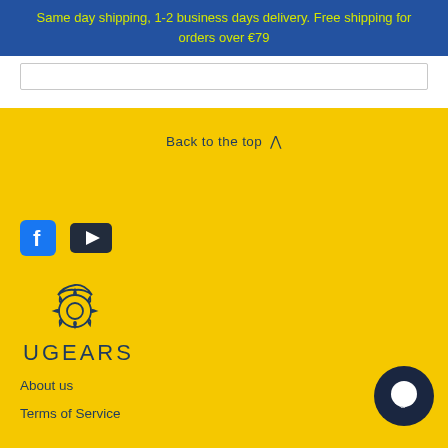Same day shipping, 1-2 business days delivery. Free shipping for orders over €79
[Figure (screenshot): White search bar input area]
Back to the top ^
[Figure (logo): Facebook icon (blue square with white f)]
[Figure (logo): YouTube icon (dark rectangle with white play triangle)]
[Figure (logo): Ugears logo - gear/sun outline with UGEARS text below]
About us
Terms of Service
[Figure (illustration): Dark navy speech bubble / chat icon in bottom right corner]